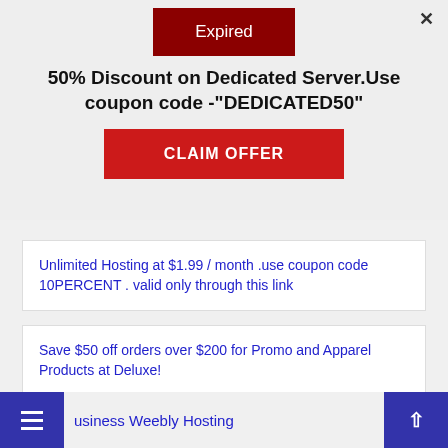Expired
50% Discount on Dedicated Server.Use coupon code -"DEDICATED50"
CLAIM OFFER
Unlimited Hosting at $1.99 / month .use coupon code 10PERCENT . valid only through this link
Save $50 off orders over $200 for Promo and Apparel Products at Deluxe!
usiness Weebly Hosting